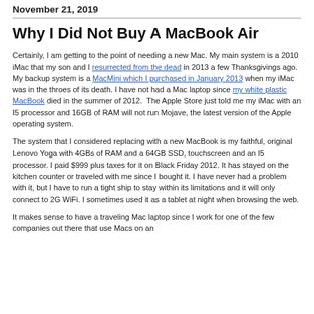November 21, 2019
Why I Did Not Buy A MacBook Air
Certainly, I am getting to the point of needing a new Mac. My main system is a 2010 iMac that my son and I resurrected from the dead in 2013 a few Thanksgivings ago. My backup system is a MacMini which I purchased in January 2013 when my iMac was in the throes of its death. I have not had a Mac laptop since my white plastic MacBook died in the summer of 2012.  The Apple Store just told me my iMac with an I5 processor and 16GB of RAM will not run Mojave, the latest version of the Apple operating system.
The system that I considered replacing with a new MacBook is my faithful, original Lenovo Yoga with 4GBs of RAM and a 64GB SSD, touchscreen and an I5 processor. I paid $999 plus taxes for it on Black Friday 2012. It has stayed on the kitchen counter or traveled with me since I bought it. I have never had a problem with it, but I have to run a tight ship to stay within its limitations and it will only connect to 2G WiFi. I sometimes used it as a tablet at night when browsing the web.
It makes sense to have a traveling Mac laptop since I work for one of the few companies out there that use Macs on an